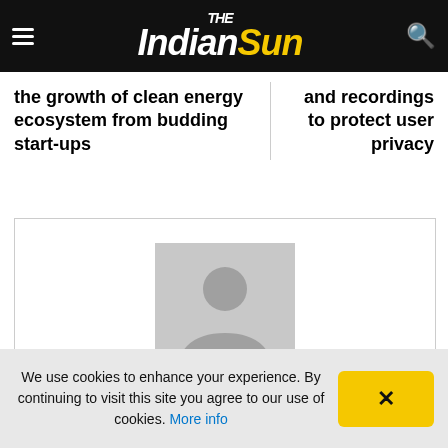The Indian Sun
the growth of clean energy ecosystem from budding start-ups
and recordings to protect user privacy
[Figure (photo): Placeholder avatar image showing a generic user silhouette on grey background]
We use cookies to enhance your experience. By continuing to visit this site you agree to our use of cookies. More info